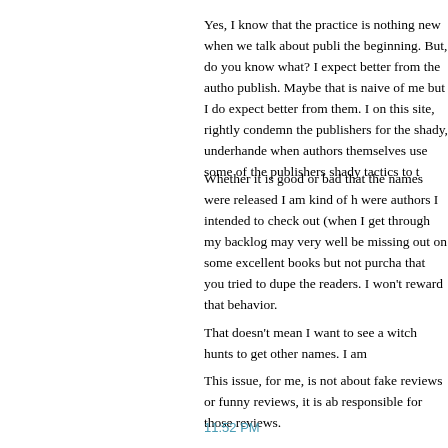Yes, I know that the practice is nothing new when we talk about publi the beginning. But, do you know what? I expect better from the autho publish. Maybe that is naive of me but I do expect better from them. I on this site, rightly condemn the publishers for the shady, underhande when authors themselves use some of the publishers shady tactics to t
Whether it is good or bad that the names were released I am kind of h were authors I intended to check out (when I get through my backlog may very well be missing out on some excellent books but not purcha that you tried to dupe the readers. I won't reward that behavior.
That doesn't mean I want to see a witch hunts to get other names. I am
This issue, for me, is not about fake reviews or funny reviews, it is ab responsible for those reviews.
11:52 PM
Mark Asher said...
Isn't there a huge difference between a dishonest review and a satirica excuse the other is wrong.